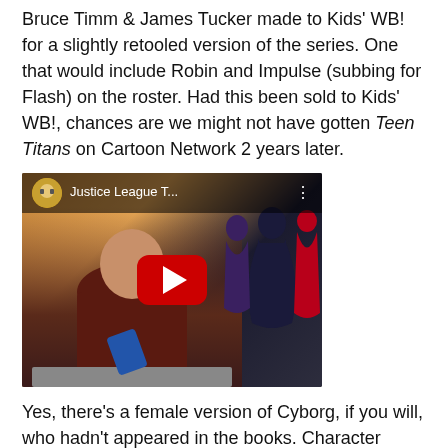Bruce Timm & James Tucker made to Kids' WB! for a slightly retooled version of the series. One that would include Robin and Impulse (subbing for Flash) on the roster. Had this been sold to Kids' WB!, chances are we might not have gotten Teen Titans on Cartoon Network 2 years later.
[Figure (screenshot): YouTube video thumbnail showing a man in a dark red jacket at a desk, with animated superhero characters (Batman, Flash, Wonder Woman) visible in the background. The video title reads 'Justice League T...' A large red YouTube play button is centered over the thumbnail.]
Yes, there's a female version of Cyborg, if you will, who hadn't appeared in the books. Character models were borrowed from other DCAU series of the period (i.e. Batman Beyond). After seeing this, I'd have to say, WB did the right thing by turning this puppy down.